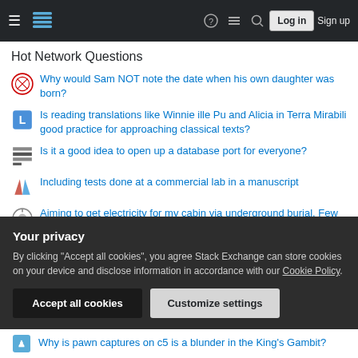Stack Exchange navigation bar with hamburger menu, logo, help, chat, search, Log in, Sign up
Hot Network Questions
Why would Sam NOT note the date when his own daughter was born?
Is reading translations like Winnie ille Pu and Alicia in Terra Mirabili good practice for approaching classical texts?
Is it a good idea to open up a database port for everyone?
Including tests done at a commercial lab in a manuscript
Aiming to get electricity for my cabin via underground burial. Few questions
What happens to malicious traffic in a scrubbing center during a DDoS attack?
How can the universe evolve unitarily if there's no clock outside it?
Your privacy
By clicking "Accept all cookies", you agree Stack Exchange can store cookies on your device and disclose information in accordance with our Cookie Policy.
Why is pawn captures on c5 is a blunder in the King's Gambit?